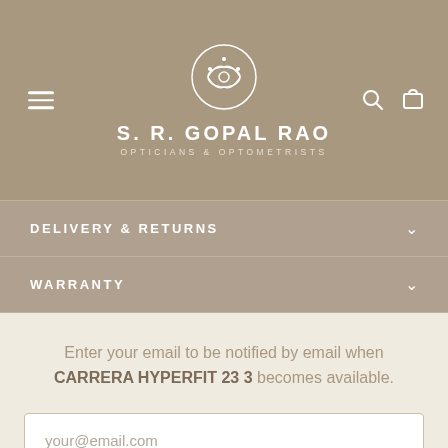[Figure (logo): S.R. Gopal Rao Opticians & Optometrists logo with circular eye emblem]
DELIVERY & RETURNS
WARRANTY
Enter your email to be notified by email when CARRERA HYPERFIT 23 3 becomes available.
your@email.com